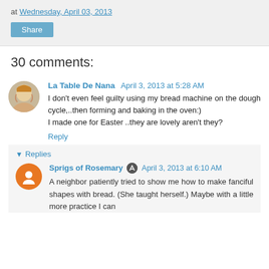at Wednesday, April 03, 2013
Share
30 comments:
La Table De Nana  April 3, 2013 at 5:28 AM
I don't even feel guilty using my bread machine on the dough cycle,..then forming and baking in the oven:)
I made one for Easter ..they are lovely aren't they?
Reply
Replies
Sprigs of Rosemary  April 3, 2013 at 6:10 AM
A neighbor patiently tried to show me how to make fanciful shapes with bread. (She taught herself.) Maybe with a little more practice I can